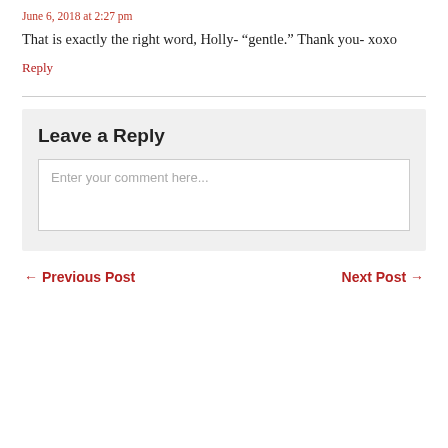June 6, 2018 at 2:27 pm
That is exactly the right word, Holly- “gentle.” Thank you- xoxo
Reply
Leave a Reply
Enter your comment here...
← Previous Post
Next Post →